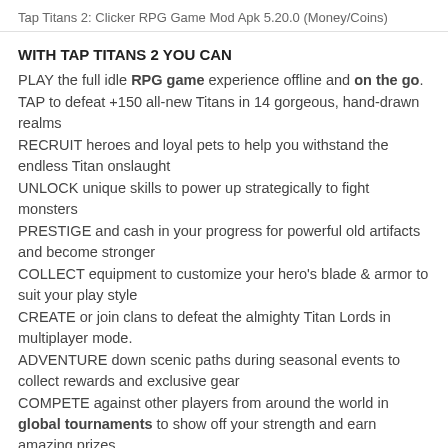Tap Titans 2: Clicker RPG Game Mod Apk 5.20.0 (Money/Coins)
WITH TAP TITANS 2 YOU CAN
PLAY the full idle RPG game experience offline and on the go.
TAP to defeat +150 all-new Titans in 14 gorgeous, hand-drawn realms
RECRUIT heroes and loyal pets to help you withstand the endless Titan onslaught
UNLOCK unique skills to power up strategically to fight monsters
PRESTIGE and cash in your progress for powerful old artifacts and become stronger
COLLECT equipment to customize your hero's blade & armor to suit your play style
CREATE or join clans to defeat the almighty Titan Lords in multiplayer mode.
ADVENTURE down scenic paths during seasonal events to collect rewards and exclusive gear
COMPETE against other players from around the world in global tournaments to show off your strength and earn amazing prizes